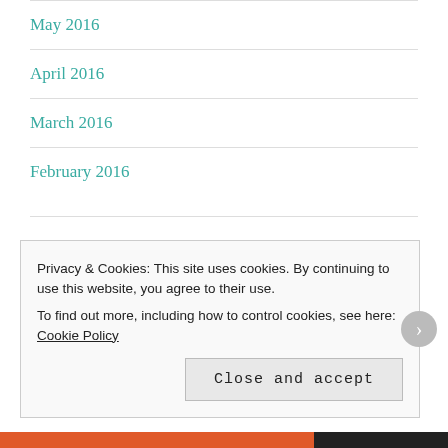May 2016
April 2016
March 2016
February 2016
Categories
Bread
Privacy & Cookies: This site uses cookies. By continuing to use this website, you agree to their use.
To find out more, including how to control cookies, see here: Cookie Policy
Close and accept